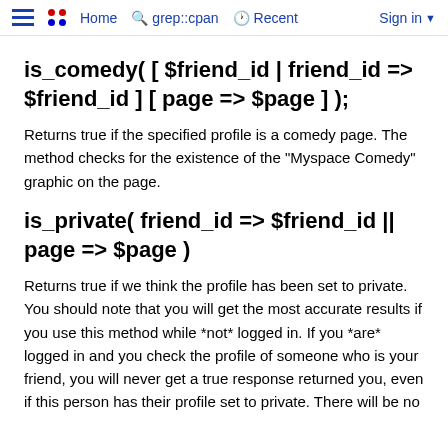≡  •• Home  🔍 grep::cpan  🕐 Recent  Sign in ▼
is_comedy( [ $friend_id | friend_id => $friend_id ] [ page => $page ] );
Returns true if the specified profile is a comedy page. The method checks for the existence of the "Myspace Comedy" graphic on the page.
is_private( friend_id => $friend_id || page => $page )
Returns true if we think the profile has been set to private. You should note that you will get the most accurate results if you use this method while *not* logged in. If you *are* logged in and you check the profile of someone who is your friend, you will never get a true response returned you, even if this person has their profile set to private. There will be no